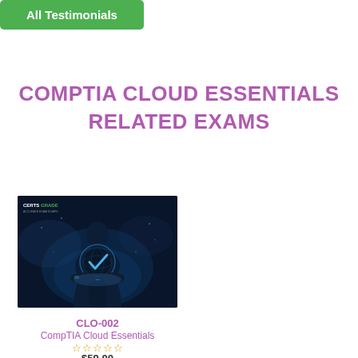All Testimonials
COMPTIA CLOUD ESSENTIALS RELATED EXAMS
[Figure (photo): Dark-themed certification image with a person holding a glowing holographic globe with a check mark, branded with CERTSGRADE logo at top left]
CLO-002
CompTIA Cloud Essentials
☆☆☆☆☆
$59.00